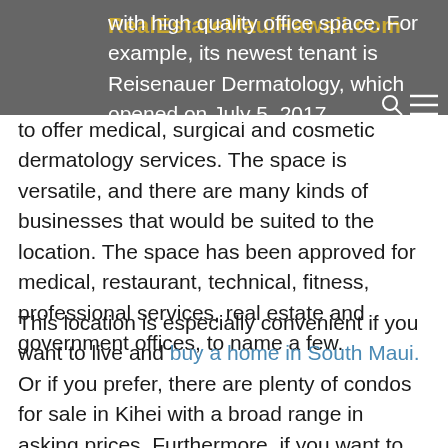RealEstateMauiHawaii.com
with high quality office space. For example, its newest tenant is Reisenauer Dermatology, which opened on July 5, 2017 to offer medical, surgical and cosmetic dermatology services. The space is versatile, and there are many kinds of businesses that would be suited to the location. The space has been approved for medical, restaurant, technical, fitness, professional services, real estate and government offices, to name a few.
This location is especially convenient if you want to live and buy a home in South Maui. Or if you prefer, there are plenty of condos for sale in Kihei with a broad range in asking prices. Furthermore, if you want to live and